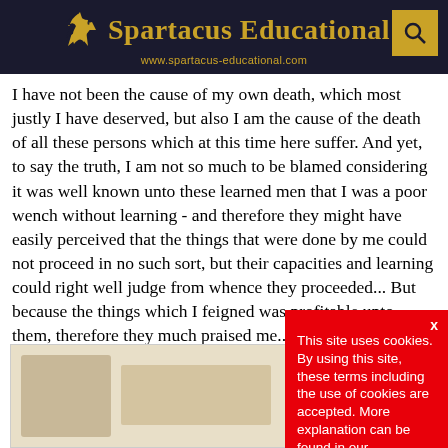Spartacus Educational — www.spartacus-educational.com
I have not been the cause of my own death, which most justly I have deserved, but also I am the cause of the death of all these persons which at this time here suffer. And yet, to say the truth, I am not so much to be blamed considering it was well known unto these learned men that I was a poor wench without learning - and therefore they might have easily perceived that the things that were done by me could not proceed in no such sort, but their capacities and learning could right well judge from whence they proceeded... But because the things which I feigned was profitable unto them, therefore they much praised me... and that it was the Holy Ghost and not I that did them. And then I, being puffed up with their praises, feel into a certain pride and foolish fantasy with myself.
[Figure (photo): Partially visible historical image at bottom left of page]
This site uses cookies. By using this site, these terms including the use of cookies are accepted. More explanation can be found in our